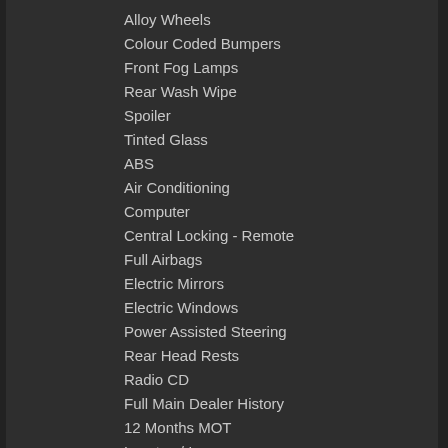Alloy Wheels
Colour Coded Bumpers
Front Fog Lamps
Rear Wash Wipe
Spoiler
Tinted Glass
ABS
Air Conditioning
Computer
Central Locking - Remote
Full Airbags
Electric Mirrors
Electric Windows
Power Assisted Steering
Rear Head Rests
Radio CD
Full Main Dealer History
12 Months MOT
Low tax / Insurance
Any Inspection Welcome
Warranty
High level brake light